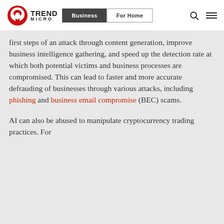Trend Micro | Business | For Home
first steps of an attack through content generation, improve business intelligence gathering, and speed up the detection rate at which both potential victims and business processes are compromised. This can lead to faster and more accurate defrauding of businesses through various attacks, including phishing and business email compromise (BEC) scams.
AI can also be abused to manipulate cryptocurrency trading practices. For